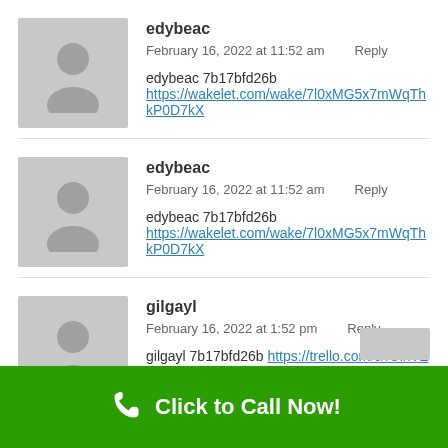edybeac
February 16, 2022 at 11:52 am   Reply
edybeac 7b17bfd26b https://wakelet.com/wake/7l0xMG5x7mWqThkP0D7kX
edybeac
February 16, 2022 at 11:52 am   Reply
edybeac 7b17bfd26b https://wakelet.com/wake/7l0xMG5x7mWqThkP0D7kX
gilgayl
February 16, 2022 at 1:52 pm   Reply
gilgayl 7b17bfd26b https://trello.com/c/rUihVZHh/52-la-ragazza-delle-arance-pdf-lavaund
Click to Call Now!